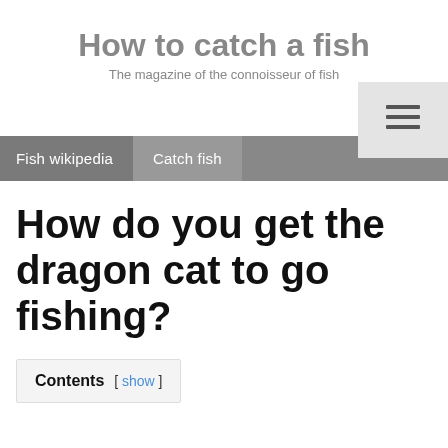How to catch a fish
The magazine of the connoisseur of fish
[Figure (other): Hamburger menu button icon (three horizontal lines) on a light gray background]
Fish wikipedia	Catch fish
How do you get the dragon cat to go fishing?
Contents [ show ]